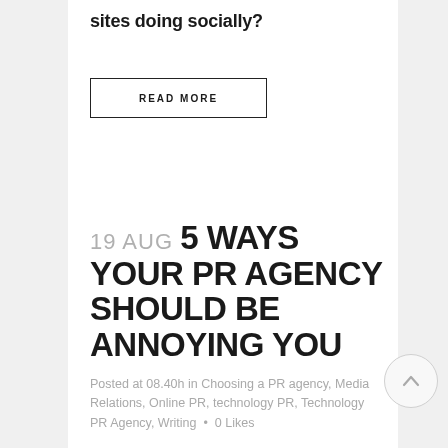sites doing socially?
READ MORE
19 AUG 5 WAYS YOUR PR AGENCY SHOULD BE ANNOYING YOU
Posted at 08.40h in Choosing a PR agency, Media Relations, Online PR, technology PR, Technology PR Agency, Writing • 0 Likes